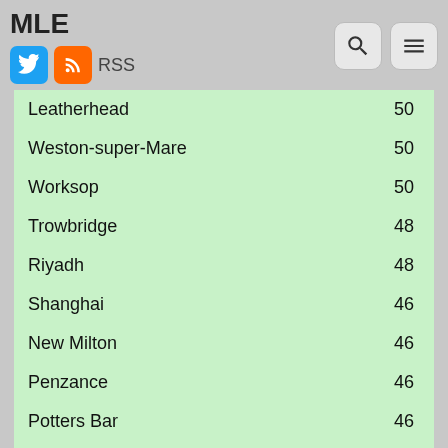MLE
| City | Score |
| --- | --- |
| Leatherhead | 50 |
| Weston-super-Mare | 50 |
| Worksop | 50 |
| Trowbridge | 48 |
| Riyadh | 48 |
| Shanghai | 46 |
| New Milton | 46 |
| Penzance | 46 |
| Potters Bar | 46 |
| Salford | 46 |
| Perth | 46 |
| Barcelona | 44 |
| Chatham | 44 |
| Chertsey | 44 |
| Chester | 44 |
| Crewe (partial) | 44 |